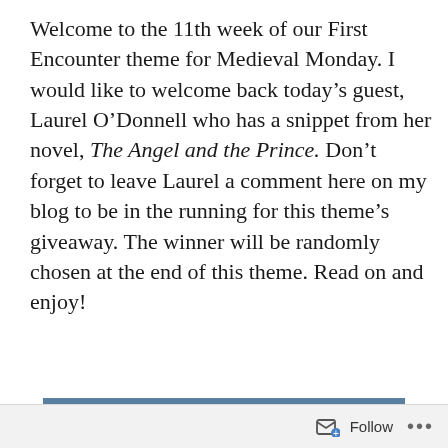Welcome to the 11th week of our First Encounter theme for Medieval Monday. I would like to welcome back today's guest, Laurel O'Donnell who has a snippet from her novel, The Angel and the Prince. Don't forget to leave Laurel a comment here on my blog to be in the running for this theme's giveaway. The winner will be randomly chosen at the end of this theme. Read on and enjoy!
[Figure (illustration): Book cover of 'The Angel and the Prince' by Laurel O'Donnell, showing a medieval woman in a decorative headpiece and a man in an embrace, with a castle in the background. The title 'Angel and Prince' is displayed prominently, with a review quote at the bottom.]
Follow ...